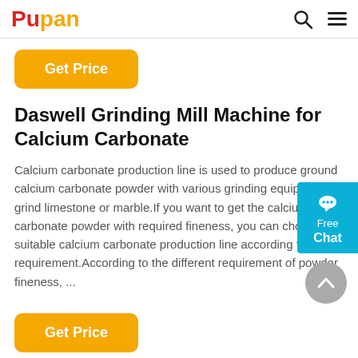Pupan
Get Price
Daswell Grinding Mill Machine for Calcium Carbonate
Calcium carbonate production line is used to produce ground calcium carbonate powder with various grinding equipment to grind limestone or marble.If you want to get the calcium carbonate powder with required fineness, you can choose the suitable calcium carbonate production line according to your requirement.According to the different requirement of powder fineness, ...
Get Price